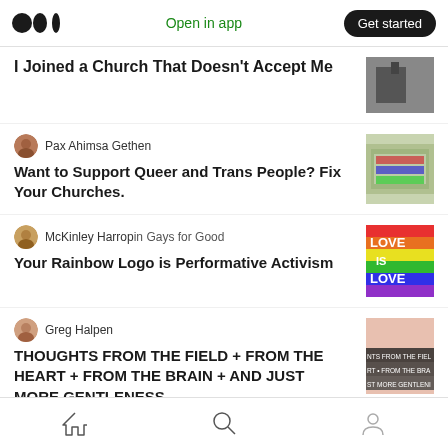Medium logo | Open in app | Get started
I Joined a Church That Doesn't Accept Me
Pax Ahimsa Gethen
Want to Support Queer and Trans People? Fix Your Churches.
McKinley Harrop in Gays for Good
Your Rainbow Logo is Performative Activism
Greg Halpen
THOUGHTS FROM THE FIELD + FROM THE HEART + FROM THE BRAIN + AND JUST MORE GENTLENESS
Home | Search | Profile